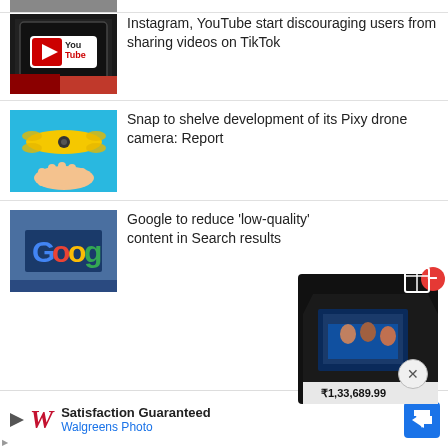[Figure (photo): YouTube logo on a tablet, partially visible at top]
Instagram, YouTube start discouraging users from sharing videos on TikTok
[Figure (photo): Yellow Snap Pixy drone camera floating above a hand on blue background]
Snap to shelve development of its Pixy drone camera: Report
[Figure (photo): Google sign on building]
Google to reduce 'low-quality' content in Search results
[Figure (photo): Advertisement product box overlay with price ₹1,33,689.99]
Satisfaction Guaranteed
Walgreens Photo